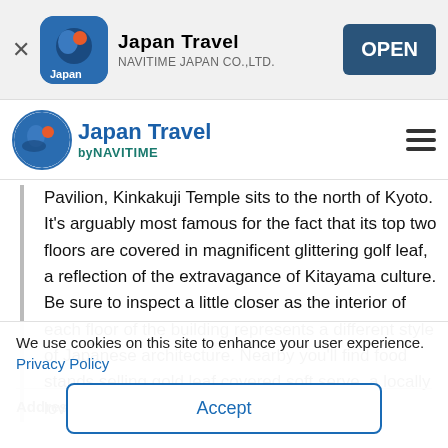[Figure (screenshot): App store banner with close X button, Japan Travel app icon, app name 'Japan Travel', developer 'NAVITIME JAPAN CO.,LTD.', and blue OPEN button]
[Figure (logo): Japan Travel by NAVITIME navigation bar with logo circle, 'Japan Travel' text in blue, 'byNAVITIME' in teal, and hamburger menu icon]
Pavilion, Kinkakuji Temple sits to the north of Kyoto. It's arguably most famous for the fact that its top two floors are covered in magnificent glittering golf leaf, a reflection of the extravagance of Kitayama culture. Be sure to inspect a little closer as the interior of each floor of the building represents a different style of Japanese architecture. Nearby you'll find food stands selling gold leaf covered soft serve, a locally loved treat.
Address    Kyoto Kyoutoshi Kita-ku Kinkakujiichou 1
We use cookies on this site to enhance your user experience.
Privacy Policy
Accept